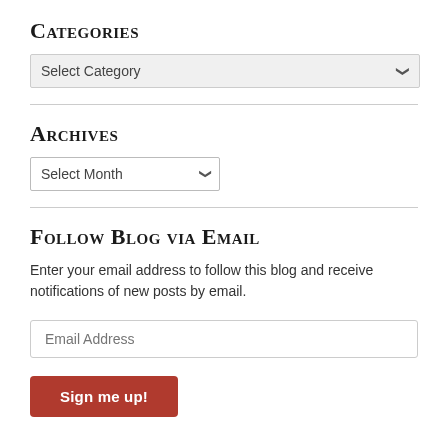Categories
[Figure (screenshot): A dropdown select input showing 'Select Category' with a chevron arrow, styled with a light gray background.]
Archives
[Figure (screenshot): A dropdown select input showing 'Select Month' with a chevron arrow, white background with border.]
Follow Blog via Email
Enter your email address to follow this blog and receive notifications of new posts by email.
[Figure (screenshot): An email address text input field with placeholder text 'Email Address'.]
Sign me up!